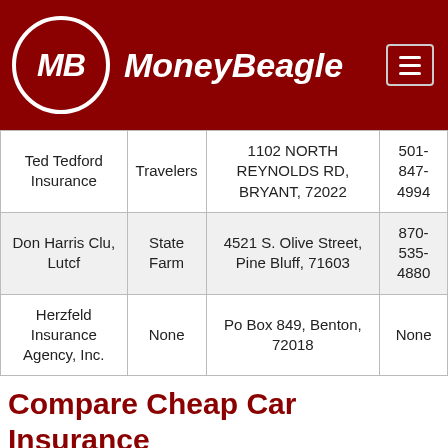MoneyBeagle
| Name | Company | Address | Phone |
| --- | --- | --- | --- |
| Ted Tedford Insurance | Travelers | 1102 NORTH REYNOLDS RD, BRYANT, 72022 | 501-847-4994 |
| Don Harris Clu, Lutcf | State Farm | 4521 S. Olive Street, Pine Bluff, 71603 | 870-535-4880 |
| Herzfeld Insurance Agency, Inc. | None | Po Box 849, Benton, 72018 | None |
Compare Cheap Car Insurance Quotes Now
Enter Zip
Get Rates >